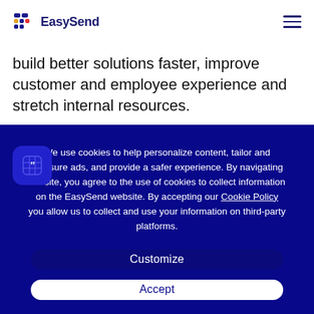EasySend
build better solutions faster, improve customer and employee experience and stretch internal resources.
We use cookies to help personalize content, tailor and measure ads, and provide a safer experience. By navigating the site, you agree to the use of cookies to collect information on the EasySend website. By accepting our Cookie Policy you allow us to collect and use your information on third-party platforms.
Customize
Accept